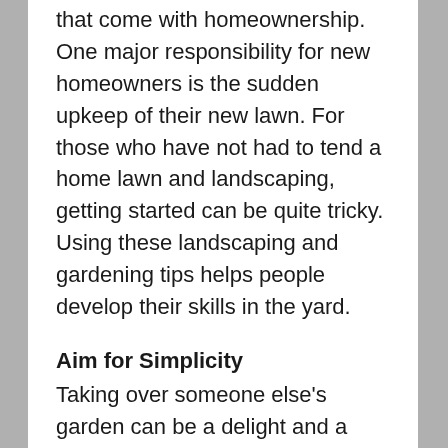that come with homeownership. One major responsibility for new homeowners is the sudden upkeep of their new lawn. For those who have not had to tend a home lawn and landscaping, getting started can be quite tricky. Using these landscaping and gardening tips helps people develop their skills in the yard.
Aim for Simplicity
Taking over someone else's garden can be a delight and a source of stress, particularly at first. People who lack a lot of experience in gardening with different types of plants may be